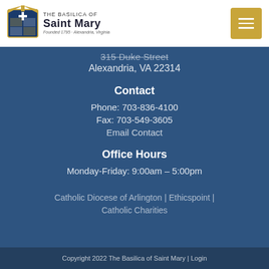[Figure (logo): The Basilica of Saint Mary logo with crest and text, Founded 1795 - Alexandria, Virginia]
315 Duke Street
Alexandria, VA 22314
Contact
Phone: 703-836-4100
Fax: 703-549-3605
Email Contact
Office Hours
Monday-Friday: 9:00am – 5:00pm
Catholic Diocese of Arlington | Ethicspoint | Catholic Charities
Copyright 2022 The Basilica of Saint Mary | Login